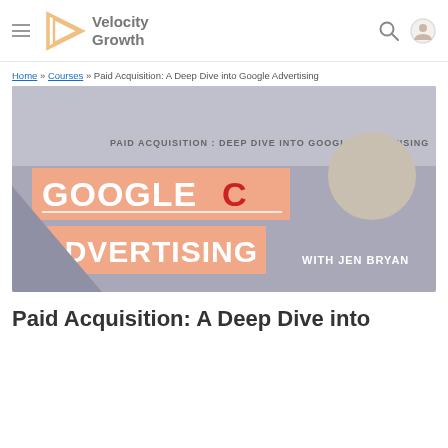Velocity Growth
Home » Courses » Paid Acquisition: A Deep Dive into Google Advertising
[Figure (screenshot): Course thumbnail image for 'Paid Acquisition: Deep Dive into Google Advertising' with Google C branding, text GOOGLE ADVERTISING on salmon/orange background, WITH JEN BRYAN text, and a photo of a woman smiling on a grey background with Google logo.]
Paid Acquisition: A Deep Dive into